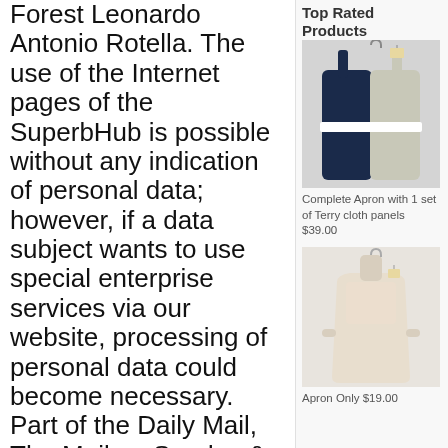Forest Leonardo Antonio Rotella. The use of the Internet pages of the SuperbHub is possible without any indication of personal data; however, if a data subject wants to use special enterprise services via our website, processing of personal data could become necessary. Part of the Daily Mail, The Mail on Sunday & Metro Media Group, FBI says IRAN is responsible for fake 'Proud Boys' emails threatening Democrat voters to vote for Trump 'in an effort to hurt the president' and says that Russia is also interfering in voter registration, 'Can you imagine if I had a secret Chinese bank account? And as for his ex
Top Rated Products
[Figure (photo): Photo of a navy blue and gray/cream apron on a hanger]
Complete Apron with 1 set of Terry cloth panels $39.00
[Figure (photo): Photo of a cream/beige apron on a hanger]
Apron Only $19.00